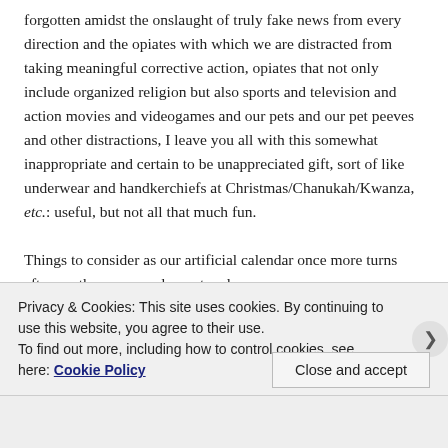forgotten amidst the onslaught of truly fake news from every direction and the opiates with which we are distracted from taking meaningful corrective action, opiates that not only include organized religion but also sports and television and action movies and videogames and our pets and our pet peeves and other distractions, I leave you all with this somewhat inappropriate and certain to be unappreciated gift, sort of like underwear and handkerchiefs at Christmas/Chanukah/Kwanza, etc.: useful, but not all that much fun.
Things to consider as our artificial calendar once more turns after another very unpleasant and non-
Privacy & Cookies: This site uses cookies. By continuing to use this website, you agree to their use.
To find out more, including how to control cookies, see here: Cookie Policy